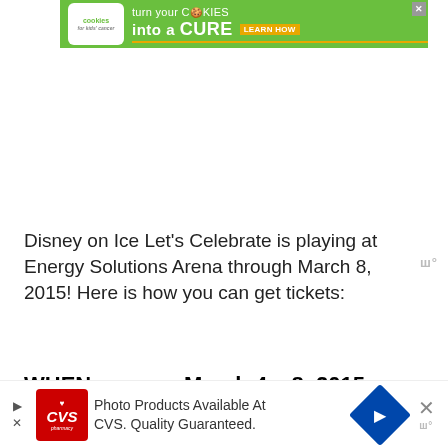[Figure (other): Green banner advertisement for Cookies for Kids Cancer: 'turn your COOKIES into a CURE LEARN HOW']
Disney on Ice Let’s Celebrate is playing at Energy Solutions Arena through March 8, 2015! Here is how you can get tickets:
WHEN:   March 4 – 8, 2015
[Figure (other): CVS Pharmacy advertisement: 'Photo Products Available At CVS. Quality Guaranteed.']